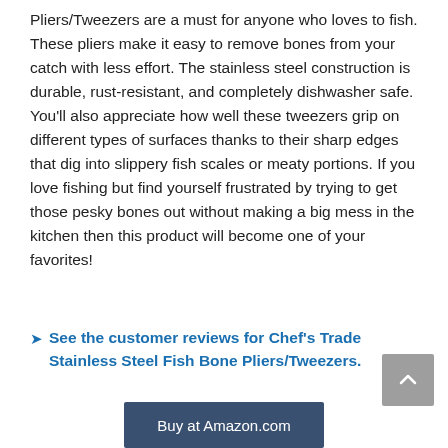Pliers/Tweezers are a must for anyone who loves to fish. These pliers make it easy to remove bones from your catch with less effort. The stainless steel construction is durable, rust-resistant, and completely dishwasher safe. You'll also appreciate how well these tweezers grip on different types of surfaces thanks to their sharp edges that dig into slippery fish scales or meaty portions. If you love fishing but find yourself frustrated by trying to get those pesky bones out without making a big mess in the kitchen then this product will become one of your favorites!
See the customer reviews for Chef's Trade Stainless Steel Fish Bone Pliers/Tweezers.